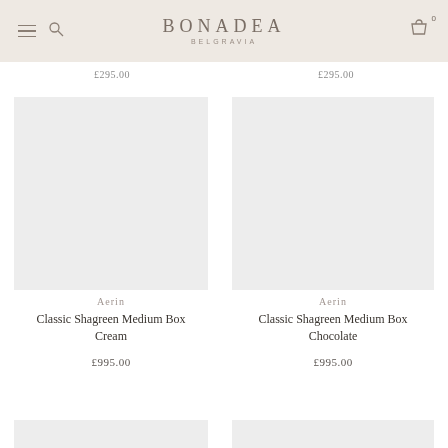BONADEA BELGRAVIA
£295.00  £295.00
[Figure (photo): Empty light grey product image placeholder for Aerin Classic Shagreen Medium Box Cream]
Aerin
Classic Shagreen Medium Box Cream
£995.00
[Figure (photo): Empty light grey product image placeholder for Aerin Classic Shagreen Medium Box Chocolate]
Aerin
Classic Shagreen Medium Box Chocolate
£995.00